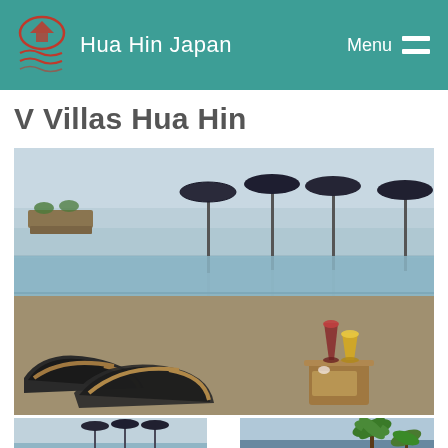Hua Hin Japan — Menu
V Villas Hua Hin
[Figure (photo): Infinity pool overlooking the sea with dark beach umbrellas on poles standing in the water, lounge chairs in the foreground, and cocktail glasses on a wooden table. Two thumbnail images below: left shows the pool and umbrellas from a wider view; right shows tropical palm trees and sea view.]